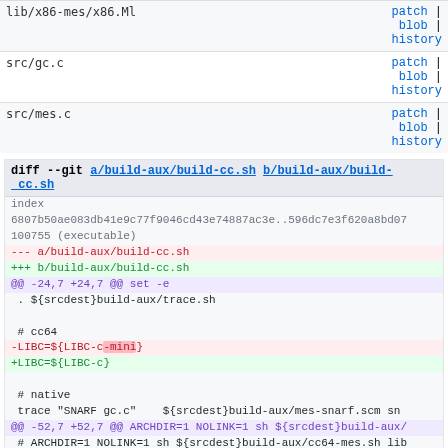| filename | actions |
| --- | --- |
| lib/x86-mes/x86.Mi | patch | blob | history |
| src/gc.c | patch | blob | history |
| src/mes.c | patch | blob | history |
diff --git a/build-aux/build-cc.sh b/build-aux/build-cc.sh
index 6807b50ae083db41e9c77f9046cd43e74887ac3e..596dc7e3f620a8bd07
100755 (executable)
--- a/build-aux/build-cc.sh
+++ b/build-aux/build-cc.sh
@@ -24,7 +24,7 @@ set -e
 . ${srcdest}build-aux/trace.sh

 # cc64
-LIBC=${LIBC-c-mini}
+LIBC=${LIBC-c}

 # native
 trace "SNARF gc.c"    ${srcdest}build-aux/mes-snarf.scm sn
@@ -52,7 +52,7 @@ ARCHDIR=1 NOLINK=1 sh ${srcdest}build-aux/
 # ARCHDIR=1 NOLINK=1 sh ${srcdest}build-aux/cc64-mes.sh lib
 # ARCHDIR=1 NOLINK=1 sh ${srcdest}build-aux/cc64-mes.sh lib
 ARCHDIR=1 NOLINK=1 sh ${srcdest}build-aux/cc64-mes.sh lib/l
-# ARCHDIR=1 NOLINK=1 sh ${srcdest}build-aux/cc64-mes.sh lib
+ARCHDIR=1 NOLINK=1 sh ${srcdest}build-aux/cc64-mes.sh